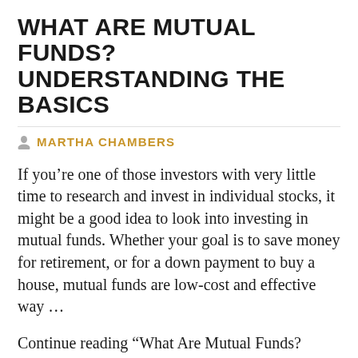WHAT ARE MUTUAL FUNDS? UNDERSTANDING THE BASICS
MARTHA CHAMBERS
If you’re one of those investors with very little time to research and invest in individual stocks, it might be a good idea to look into investing in mutual funds. Whether your goal is to save money for retirement, or for a down payment to buy a house, mutual funds are low-cost and effective way …
Continue reading “What Are Mutual Funds? Understanding The Basics”
The post What Are Mutual Funds? Understanding